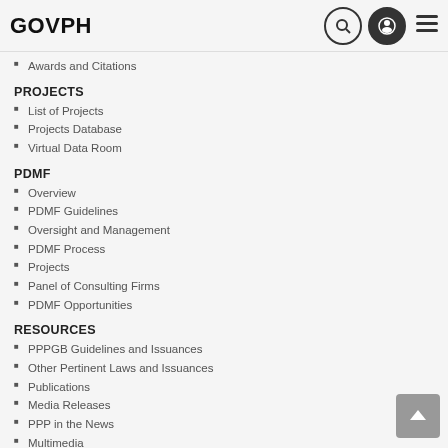GOVPH
Awards and Citations
PROJECTS
List of Projects
Projects Database
Virtual Data Room
PDMF
Overview
PDMF Guidelines
Oversight and Management
PDMF Process
Projects
Panel of Consulting Firms
PDMF Opportunities
RESOURCES
PPPGB Guidelines and Issuances
Other Pertinent Laws and Issuances
Publications
Media Releases
PPP in the News
Multimedia
Speeches and Presentations
Events
LOCAL PPPS
Local PPP Strategy